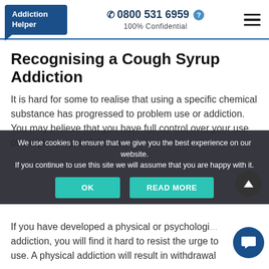Addiction Helper | 0800 531 6959 | 100% Confidential
Recognising a Cough Syrup Addiction
It is hard for some to realise that using a specific chemical substance has progressed to problem use or addiction. You may believe that you have full control over your use of cough syrup and that you
We use cookies to ensure that we give you the best experience on our website. If you continue to use this site we will assume that you are happy with it.
If you have developed a physical or psychological addiction, you will find it hard to resist the urge to use. A physical addiction will result in withdrawal